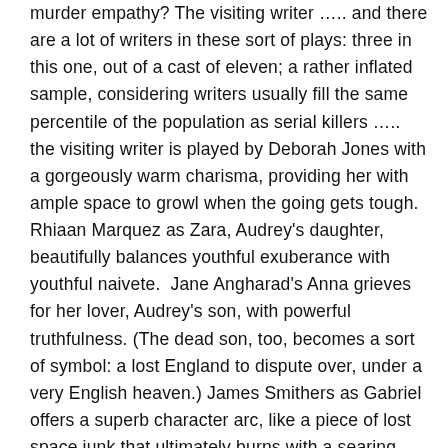murder empathy? The visiting writer ….. and there are a lot of writers in these sort of plays: three in this one, out of a cast of eleven; a rather inflated sample, considering writers usually fill the same percentile of the population as serial killers ….. the visiting writer is played by Deborah Jones with a gorgeously warm charisma, providing her with ample space to growl when the going gets tough. Rhiaan Marquez as Zara, Audrey's daughter, beautifully balances youthful exuberance with youthful naivete.  Jane Angharad's Anna grieves for her lover, Audrey's son, with powerful truthfulness. (The dead son, too, becomes a sort of symbol: a lost England to dispute over, under a very English heaven.) James Smithers as Gabriel offers a superb character arc, like a piece of lost space junk that ultimately burns with a searing white heat when it drifts into the orbit of a more imposing body. Charles Mayer as Paul, Audrey's husband, gives a performance of gentle